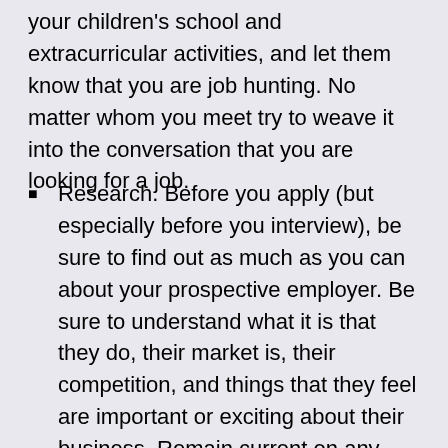your children's school and extracurricular activities, and let them know that you are job hunting. No matter whom you meet try to weave it into the conversation that you are looking for a job.
Research. Before you apply (but especially before you interview), be sure to find out as much as you can about your prospective employer. Be sure to understand what it is that they do, their market is, their competition, and things that they feel are important or exciting about their business. Remain current on any issues or developments in the field.